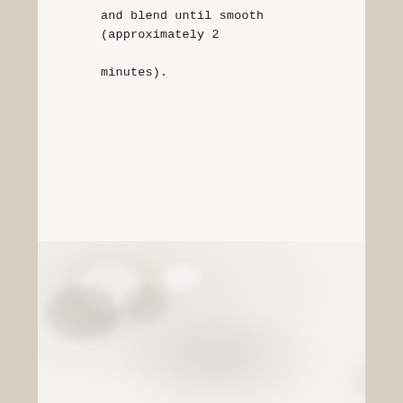and blend until smooth (approximately 2 minutes).
[Figure (photo): A blurred close-up photo of what appears to be a glass or bowl, light-toned with soft shadows, partially visible at the bottom of the page.]